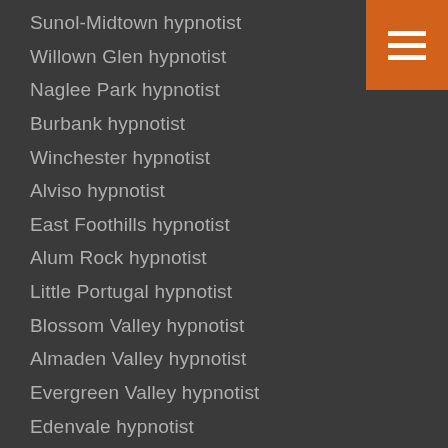[Figure (other): Orange hamburger menu icon with three horizontal white bars on orange background, top-right corner]
Sunol-Midtown hypnotist
Willown Glen hypnotist
Naglee Park hypnotist
Burbank hypnotist
Winchester hypnotist
Alviso hypnotist
East Foothills hypnotist
Alum Rock hypnotist
Little Portugal hypnotist
Blossom Valley hypnotist
Almaden Valley hypnotist
Evergreen Valley hypnotist
Edenvale hypnotist
Santa Teresa hypnotist
Seven Trees hypnotist